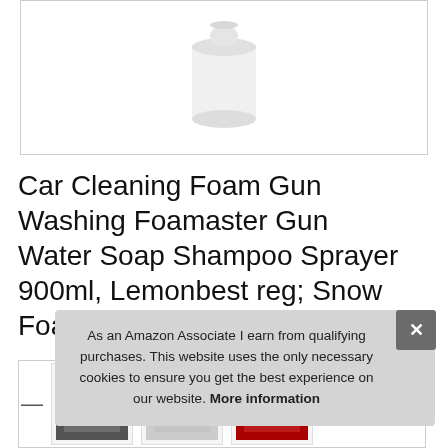[Figure (photo): White foam gun / soap dispenser product photo on white background inside a bordered image box]
Car Cleaning Foam Gun Washing Foamaster Gun Water Soap Shampoo Sprayer 900ml, Lemonbest reg; Snow Foamer Lance
[Figure (photo): Thumbnail strip showing small product images at bottom of page]
As an Amazon Associate I earn from qualifying purchases. This website uses the only necessary cookies to ensure you get the best experience on our website. More information